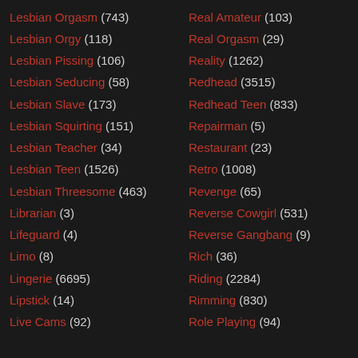Lesbian Orgasm (743)
Lesbian Orgy (118)
Lesbian Pissing (106)
Lesbian Seducing (58)
Lesbian Slave (173)
Lesbian Squirting (151)
Lesbian Teacher (34)
Lesbian Teen (1526)
Lesbian Threesome (463)
Librarian (3)
Lifeguard (4)
Limo (8)
Lingerie (6695)
Lipstick (14)
Live Cams (92)
Real Amateur (103)
Real Orgasm (29)
Reality (1262)
Redhead (3515)
Redhead Teen (833)
Repairman (5)
Restaurant (23)
Retro (1008)
Revenge (65)
Reverse Cowgirl (531)
Reverse Gangbang (9)
Rich (36)
Riding (2284)
Rimming (830)
Role Playing (94)